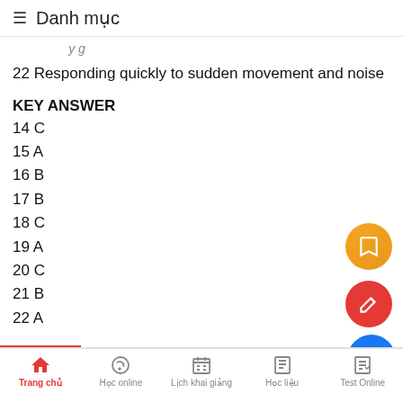≡ Danh mục
(truncated text from previous page)
22 Responding quickly to sudden movement and noise
KEY ANSWER
14 C
15 A
16 B
17 B
18 C
19 A
20 C
21 B
22 A
Trang chủ  Học online  Lịch khai giảng  Học liệu  Test Online